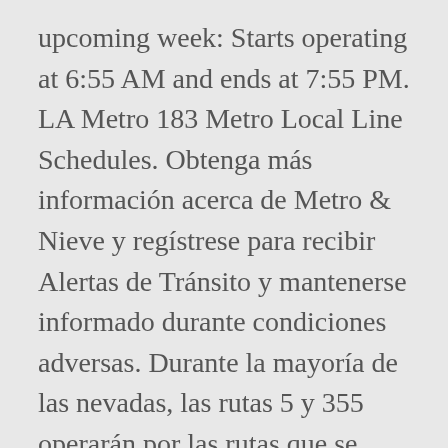upcoming week: Starts operating at 6:55 AM and ends at 7:55 PM. LA Metro 183 Metro Local Line Schedules. Obtenga más información acerca de Metro & Nieve y regístrese para recibir Alertas de Tránsito y mantenerse informado durante condiciones adversas. Durante la mayoría de las nevadas, las rutas 5 y 355 operarán por las rutas que se muestran en este programa, designadas para tales circunstancias. Click here for live arrival times and to see the full schedule for the Sherman Oaks - Glendale Via Magnolia Bus line that is closest to your location. No Sunday service. Si Metro llegara a declarar emergencia, la ruta 3 a Madrona y North Queen Anne Hill y la ruta 4 a Judkins Park